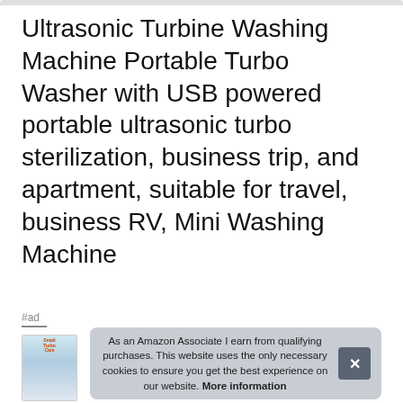Ultrasonic Turbine Washing Machine Portable Turbo Washer with USB powered portable ultrasonic turbo sterilization, business trip, and apartment, suitable for travel, business RV, Mini Washing Machine
#ad
As an Amazon Associate I earn from qualifying purchases. This website uses the only necessary cookies to ensure you get the best experience on our website. More information